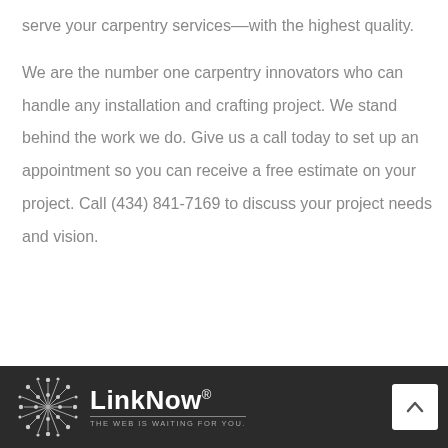serve your carpentry services––with the highest quality.
We are the number one carpentry innovators who can handle any installation and crafting project. We stand behind the work we do. Give us a call today to set up an appointment so you can receive a free estimate on your project. Call (434) 841-7169 to discuss your project needs and vision.
LinkNow® THE WEB IS WAITING FOR YOU.